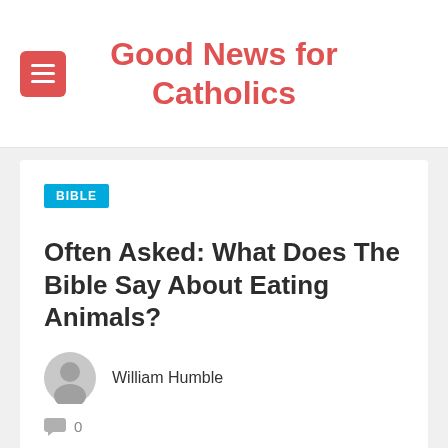Good News for Catholics
Often Asked: What Does The Bible Say About Eating Animals?
BIBLE
William Humble
0